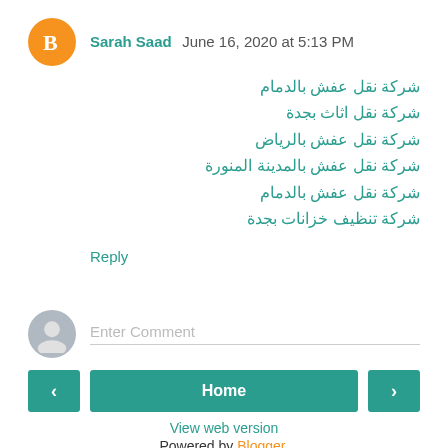Sarah Saad June 16, 2020 at 5:13 PM
شركة نقل عفش بالدمام
شركة نقل اثاث بجدة
شركة نقل عفش بالرياض
شركة نقل عفش بالمدينة المنورة
شركة نقل عفش بالدمام
شركة تنظيف خزانات بجدة
Reply
Enter Comment
Home
View web version
Powered by Blogger.